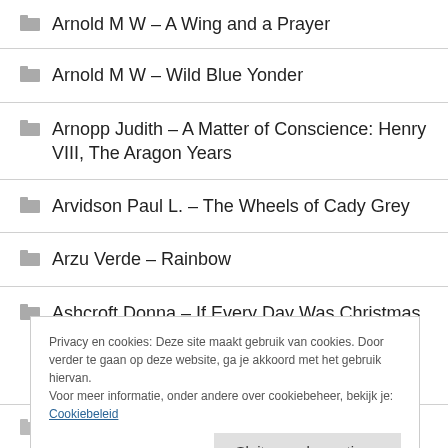Arnold M W – A Wing and a Prayer
Arnold M W – Wild Blue Yonder
Arnopp Judith – A Matter of Conscience: Henry VIII, The Aragon Years
Arvidson Paul L. – The Wheels of Cady Grey
Arzu Verde – Rainbow
Ashcroft Donna – If Every Day Was Christmas
Privacy en cookies: Deze site maakt gebruik van cookies. Door verder te gaan op deze website, ga je akkoord met het gebruik hiervan. Voor meer informatie, onder andere over cookiebeheer, bekijk je: Cookiebeleid
Ashcroft Donna – The Christmas Countdown